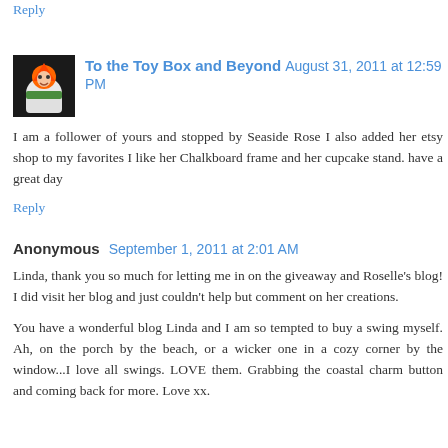Reply
To the Toy Box and Beyond August 31, 2011 at 12:59 PM
I am a follower of yours and stopped by Seaside Rose I also added her etsy shop to my favorites I like her Chalkboard frame and her cupcake stand. have a great day
Reply
Anonymous September 1, 2011 at 2:01 AM
Linda, thank you so much for letting me in on the giveaway and Roselle's blog! I did visit her blog and just couldn't help but comment on her creations.
You have a wonderful blog Linda and I am so tempted to buy a swing myself. Ah, on the porch by the beach, or a wicker one in a cozy corner by the window...I love all swings. LOVE them. Grabbing the coastal charm button and coming back for more. Love xx.